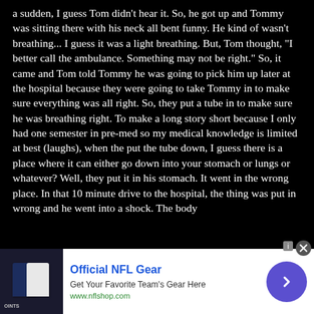a sudden, I guess Tom didn't hear it. So, he got up and Tommy was sitting there with his neck all bent funny. He kind of wasn't breathing... I guess it was a light breathing. But, Tom thought, "I better call the ambulance. Something may not be right." So, it came and Tom told Tommy he was going to pick him up later at the hospital because they were going to take Tommy in to make sure everything was all right. So, they put a tube in to make sure he was breathing right. To make a long story short because I only had one semester in pre-med so my medical knowledge is limited at best (laughs), when the put the tube down, I guess there is a place where it can either go down into your stomach or lungs or whatever? Well, they put it in his stomach. It went in the wrong place. In that 10 minute drive to the hospital, the thing was put in wrong and he went into a shock. The body
[Figure (other): Advertisement banner for Official NFL Gear. Shows NFL jerseys image on left, text 'Official NFL Gear / Get Your Favorite Team's Gear Here / www.nflshop.com' in center, purple circular arrow button on right, close (X) button at top right.]